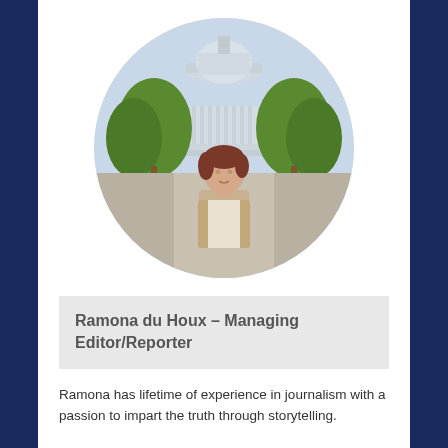[Figure (photo): Circular cropped photo of Ramona du Houx standing in front of the US Capitol building, surrounded by green trees. She has short brown hair and is wearing a beige blazer.]
Ramona du Houx – Managing Editor/Reporter
Ramona has lifetime of experience in journalism with a passion to impart the truth through storytelling.